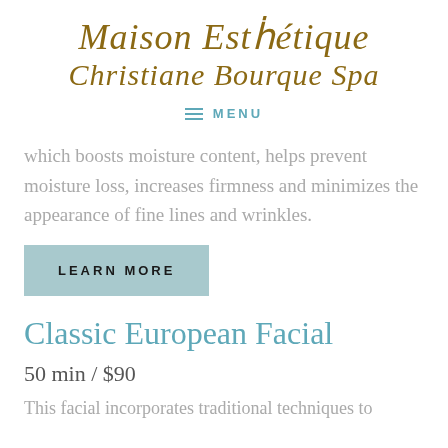Maison Esthétique
Christiane Bourque Spa
MENU
which boosts moisture content, helps prevent moisture loss, increases firmness and minimizes the appearance of fine lines and wrinkles.
LEARN MORE
Classic European Facial
50 min / $90
This facial incorporates traditional techniques to